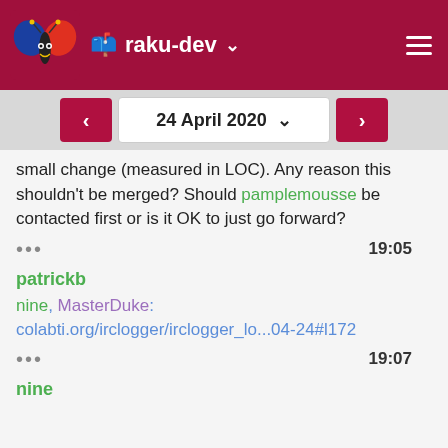raku-dev
24 April 2020
small change (measured in LOC). Any reason this shouldn't be merged? Should pamplemousse be contacted first or is it OK to just go forward?
••• 19:05
patrickb
nine, MasterDuke: colabti.org/irclogger/irclogger_lo...04-24#l172
••• 19:07
nine